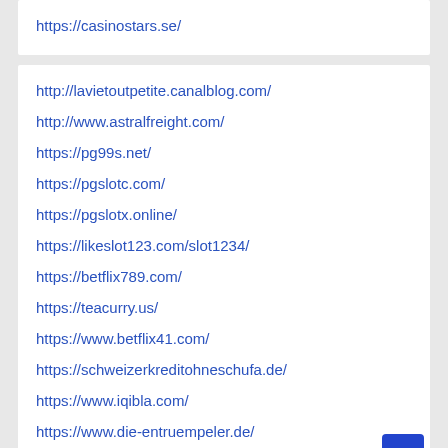https://casinostars.se/
http://lavietoutpetite.canalblog.com/
http://www.astralfreight.com/
https://pg99s.net/
https://pgslotc.com/
https://pgslotx.online/
https://likeslot123.com/slot1234/
https://betflix789.com/
https://teacurry.us/
https://www.betflix41.com/
https://schweizerkreditohneschufa.de/
https://www.iqibla.com/
https://www.die-entruempeler.de/
https://www.pearlandcosmetics.com/